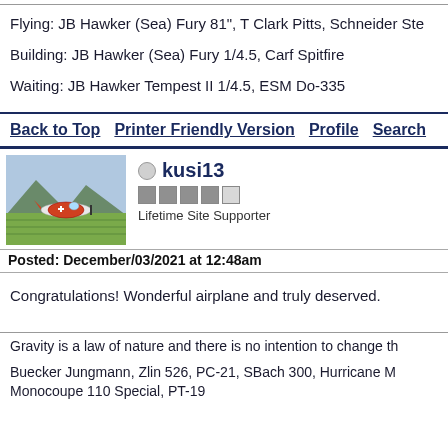Flying: JB Hawker (Sea) Fury 81", T Clark Pitts, Schneider Ste
Building: JB Hawker (Sea) Fury 1/4.5, Carf Spitfire
Waiting: JB Hawker Tempest II 1/4.5, ESM Do-335
Back to Top   Printer Friendly Version   Profile   Search
[Figure (photo): Avatar photo of a model airplane on a grass field with mountains in background]
kusi13
Lifetime Site Supporter
Posted: December/03/2021 at 12:48am
Congratulations! Wonderful airplane and truly deserved.
Gravity is a law of nature and there is no intention to change th
Buecker Jungmann, Zlin 526, PC-21, SBach 300, Hurricane M Monocoupe 110 Special, PT-19